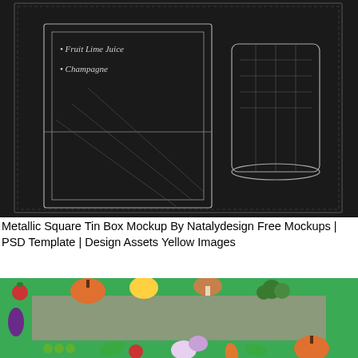[Figure (photo): A dark chalkboard-style illustration of a metallic square tin box mockup with white chalk-style text listing drink ingredients and a glass container sketch on the right side.]
Metallic Square Tin Box Mockup By Natalydesign Free Mockups | PSD Template | Design Assets Yellow Images
[Figure (illustration): A colorful illustration of a vegetable frame with various vegetables (tomatoes, pumpkins, mushrooms, eggplant, onions, peas, broccoli, etc.) arranged as a border around a sage-green center on a bright green background.]